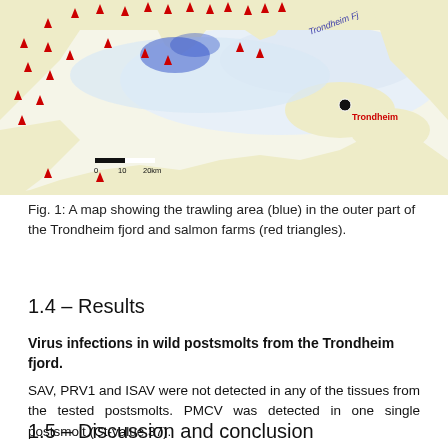[Figure (map): A map showing the trawling area (blue) in the outer part of the Trondheim fjord and salmon farms marked as red triangles. The Trondheim Fjord is labeled in purple italic text. Trondheim city is marked with a black dot. A scale bar shows 0, 10, 20km. The land is shown in light yellow/beige and water in white.]
Fig. 1: A map showing the trawling area (blue) in the outer part of the Trondheim fjord and salmon farms (red triangles).
1.4 – Results
Virus infections in wild postsmolts from the Trondheim fjord.
SAV, PRV1 and ISAV were not detected in any of the tissues from the tested postsmolts. PMCV was detected in one single postsmolt (Ct-value 37).
1.5 – Discussion and conclusion